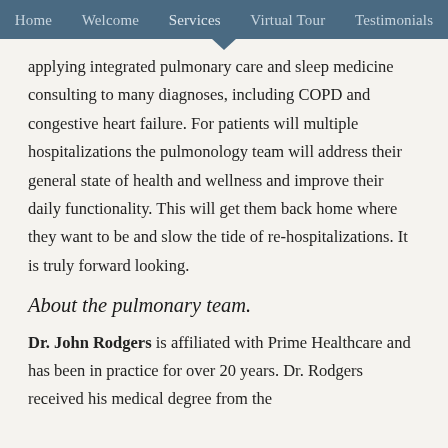Home   Welcome   Services   Virtual Tour   Testimonials
applying integrated pulmonary care and sleep medicine consulting to many diagnoses, including COPD and congestive heart failure. For patients will multiple hospitalizations the pulmonology team will address their general state of health and wellness and improve their daily functionality. This will get them back home where they want to be and slow the tide of re-hospitalizations. It is truly forward looking.
About the pulmonary team.
Dr. John Rodgers is affiliated with Prime Healthcare and has been in practice for over 20 years. Dr. Rodgers received his medical degree from the